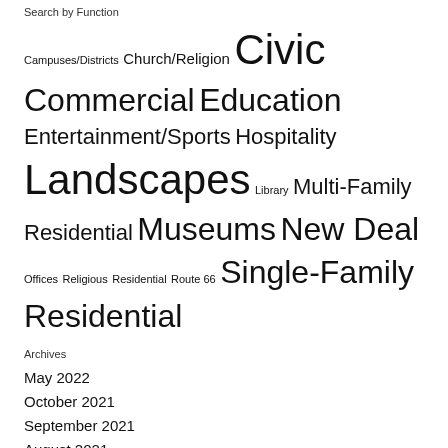Search by Function
Campuses/Districts Church/Religion Civic Commercial Education Entertainment/Sports Hospitality Landscapes Library Multi-Family Residential Museums New Deal Offices Religious Residential Route 66 Single-Family Residential
Archives
May 2022
October 2021
September 2021
August 2021
June 2021